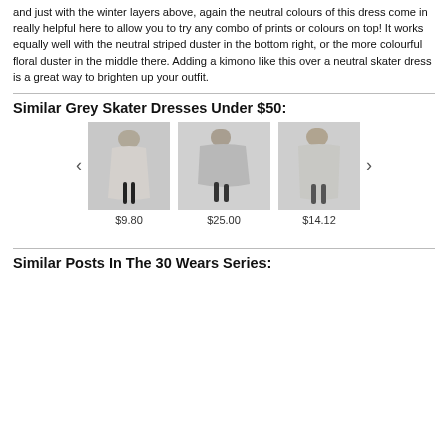and just with the winter layers above, again the neutral colours of this dress come in really helpful here to allow you to try any combo of prints or colours on top! It works equally well with the neutral striped duster in the bottom right, or the more colourful floral duster in the middle there. Adding a kimono like this over a neutral skater dress is a great way to brighten up your outfit.
Similar Grey Skater Dresses Under $50:
[Figure (photo): Carousel of three grey skater dress product photos with prices: $9.80, $25.00, $14.12]
Similar Posts In The 30 Wears Series: